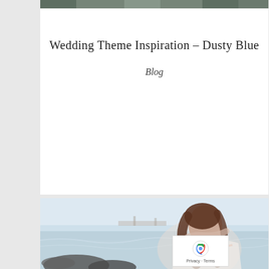[Figure (photo): Top banner image strip showing a group of people outdoors]
Wedding Theme Inspiration – Dusty Blue
Blog
[Figure (photo): A young woman with long brown hair wearing an off-shoulder floral dress, posing on rocky coastal shoreline with ocean waves in the background]
[Figure (other): reCAPTCHA badge with logo and Privacy - Terms text]